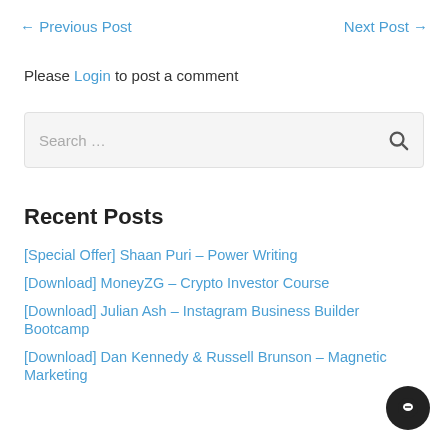← Previous Post    Next Post →
Please Login to post a comment
Search …
Recent Posts
[Special Offer] Shaan Puri – Power Writing
[Download] MoneyZG – Crypto Investor Course
[Download] Julian Ash – Instagram Business Builder Bootcamp
[Download] Dan Kennedy & Russell Brunson – Magnetic Marketing